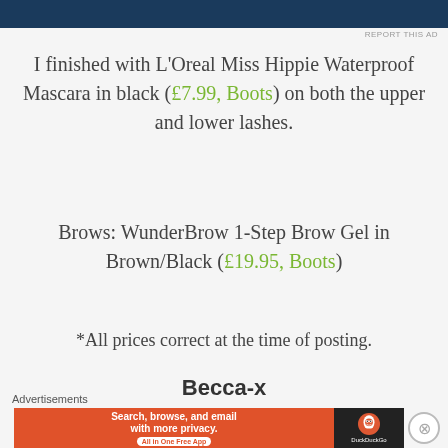[Figure (screenshot): Dark blue top advertisement bar]
REPORT THIS AD
I finished with L'Oreal Miss Hippie Waterproof Mascara in black (£7.99, Boots) on both the upper and lower lashes.
Brows: WunderBrow 1-Step Brow Gel in Brown/Black (£19.95, Boots)
*All prices correct at the time of posting.
Becca-x
[Figure (logo): Bloglovin logo (broken image)]
[Figure (logo): Pinterest logo (broken image)]
[Figure (logo): Instagram logo (broken image)]
Advertisements
[Figure (screenshot): DuckDuckGo advertisement: Search, browse, and email with more privacy. All in One Free App]